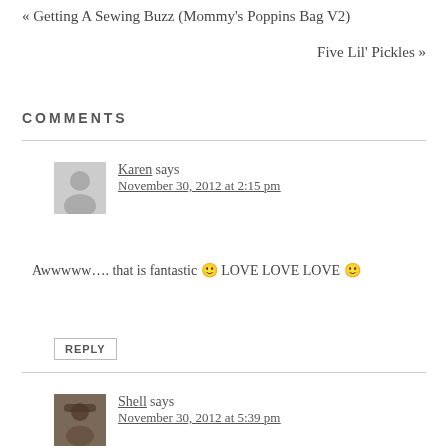« Getting A Sewing Buzz (Mommy's Poppins Bag V2)
Five Lil' Pickles »
COMMENTS
Karen says
November 30, 2012 at 2:15 pm
Awwwww…. that is fantastic 🙂 LOVE LOVE LOVE 🙂
REPLY
Shell says
November 30, 2012 at 5:39 pm